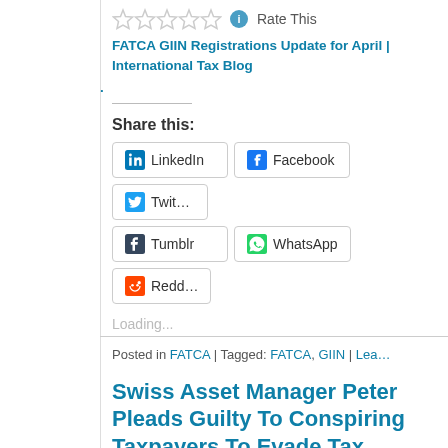Rate This
FATCA GIIN Registrations Update for April | International Tax Blog.
Share this:
LinkedIn  Facebook  Twitter  Tumblr  WhatsApp  Reddit
Loading...
Posted in FATCA | Tagged: FATCA, GIIN | Lea…
Swiss Asset Manager Peter Pleads Guilty To Conspiring Taxpayers To Evade Tax
Posted by William Byrnes on April 2, 2015
1 Votes
International Financial Law Prof Blog